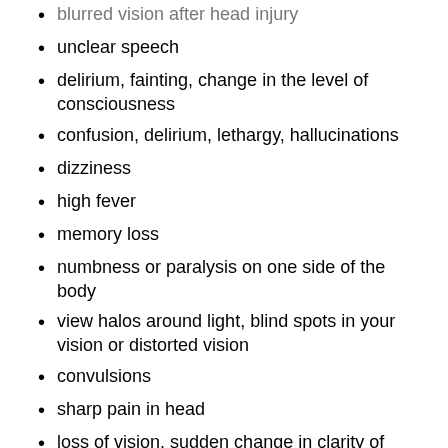blurred vision after head injury
unclear speech
delirium, fainting, change in the level of consciousness
confusion, delirium, lethargy, hallucinations
dizziness
high fever
memory loss
numbness or paralysis on one side of the body
view halos around light, blind spots in your vision or distorted vision
convulsions
sharp pain in head
loss of vision, sudden change in clarity of vision, eye pain
weakness
Causes
Blurred vision can be caused by various disorders, both serious and light. This can be caused both by eye problems, and neurological disorders or autoimmune diseases. Many